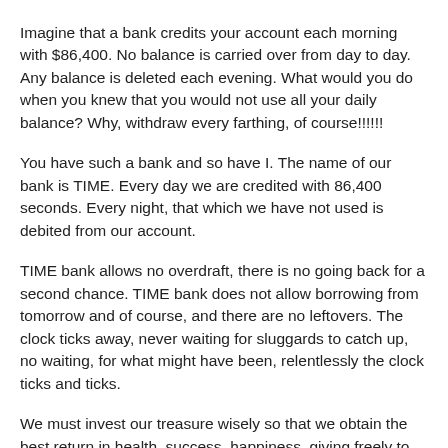Imagine that a bank credits your account each morning with $86,400. No balance is carried over from day to day. Any balance is deleted each evening. What would you do when you knew that you would not use all your daily balance? Why, withdraw every farthing, of course!!!!!!
You have such a bank and so have I. The name of our bank is TIME. Every day we are credited with 86,400 seconds. Every night, that which we have not used is debited from our account.
TIME bank allows no overdraft, there is no going back for a second chance. TIME bank does not allow borrowing from tomorrow and of course, and there are no leftovers. The clock ticks away, never waiting for sluggards to catch up, no waiting, for what might have been, relentlessly the clock ticks and ticks.
We must invest our treasure wisely so that we obtain the best return in health, success, happiness, giving freely to those in need of God's love, the warmth of Jesus arms, the